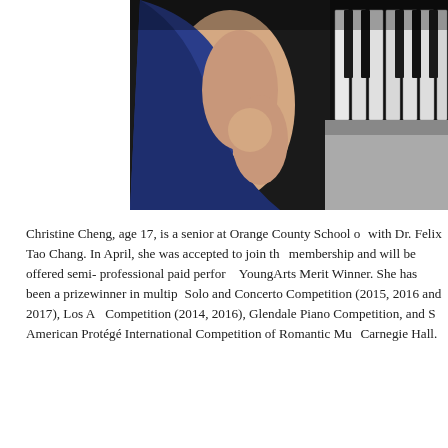[Figure (photo): A person in a blue dress seated at a piano, shown from the torso, with piano keys visible on the right side of the image.]
Christine Cheng, age 17, is a senior at Orange County School of the Arts, studying piano with Dr. Felix Tao Chang. In April, she was accepted to join the Pasadena Youth Symphony Orchestra membership and will be offered semi-professional paid performance opportunities. She is also a YoungArts Merit Winner. She has been a prizewinner in multiple competitions including MTAC Solo and Concerto Competition (2015, 2016 and 2017), Los Angeles Liszt Competition (2014, 2016), Glendale Piano Competition, and Southern California MTAC American Protégé International Competition of Romantic Music, performing at Carnegie Hall.
...